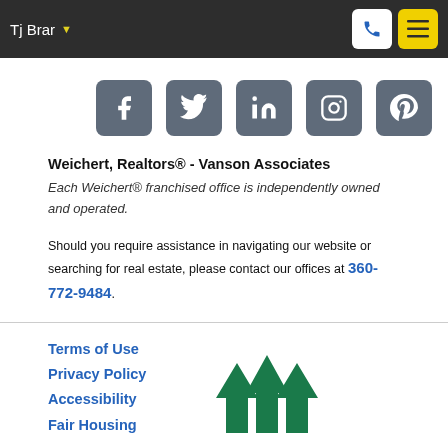Tj Brar
[Figure (infographic): Social media icon buttons: Facebook, Twitter, LinkedIn, Instagram, Pinterest — grey rounded squares with white icons]
Weichert, Realtors® - Vanson Associates
Each Weichert® franchised office is independently owned and operated.
Should you require assistance in navigating our website or searching for real estate, please contact our offices at 360-772-9484.
Terms of Use
Privacy Policy
Accessibility
Fair Housing
[Figure (logo): Equal Housing Opportunity logo — three green arrow shapes pointing upward]